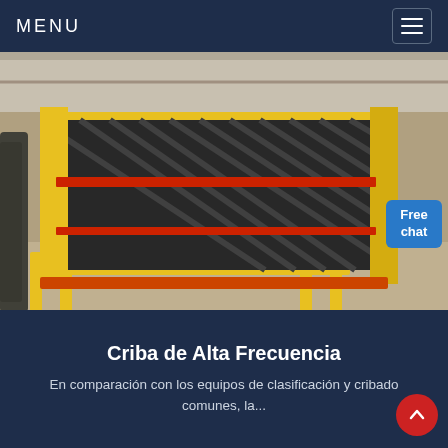MENU
[Figure (photo): Industrial high-frequency screen/sieve machine with yellow steel frame and black mesh panels, photographed in a large factory warehouse. Multiple similar units visible in background.]
Criba de Alta Frecuencia
En comparación con los equipos de clasificación y cribado comunes, la...